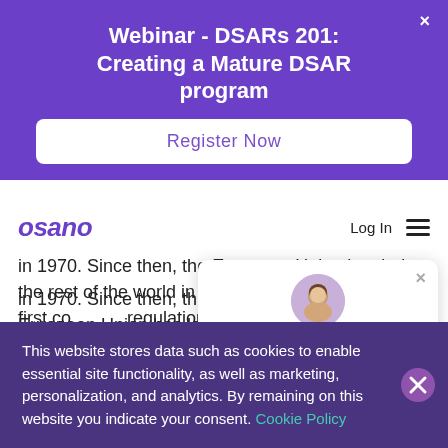Webinar - DSARs 201: Creating a Mature DSAR program
Register Now
[Figure (logo): Osano logo in purple italic text]
Log In
in 1970. Since then, the European Union has led the rest of the world in data privacy legislation. The first comprehensive regulation was passed
[Figure (photo): Chat widget with avatar of a woman and text: Hi, I'm Alex! 👋 if you have any questions about our products or]
This website stores data such as cookies to enable essential site functionality, as well as marketing, personalization, and analytics. By remaining on this website you indicate your consent. Cookie Policy